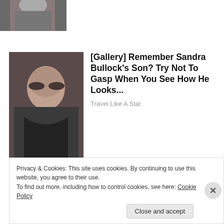[Figure (photo): Top of a person's head/face partially visible, dark background]
[Figure (photo): Woman with sunglasses and dark hair, wearing dark clothing]
[Gallery] Remember Sandra Bullock's Son? Try Not To Gasp When You See How He Looks...
Travel Like A Star
Spread the love!
[Figure (infographic): Social sharing icons: Twitter, Facebook, Pinterest, Tumblr, Reddit, Print]
Privacy & Cookies: This site uses cookies. By continuing to use this website, you agree to their use.
To find out more, including how to control cookies, see here: Cookie Policy
Close and accept